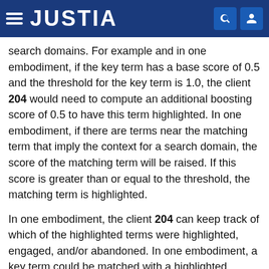JUSTIA
search domains. For example and in one embodiment, if the key term has a base score of 0.5 and the threshold for the key term is 1.0, the client 204 would need to compute an additional boosting score of 0.5 to have this term highlighted. In one embodiment, if there are terms near the matching term that imply the context for a search domain, the score of the matching term will be raised. If this score is greater than or equal to the threshold, the matching term is highlighted.
In one embodiment, the client 204 can keep track of which of the highlighted terms were highlighted, engaged, and/or abandoned. In one embodiment, a key term could be matched with a highlighted application term many different times in the same or different applications. In this embodiment, the client 204 keeps tracks of the number of times a key term gets matched